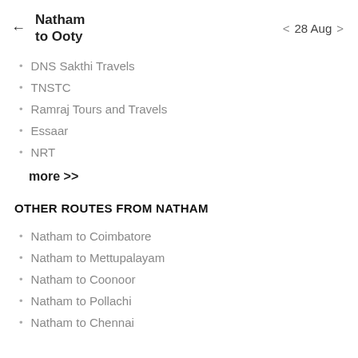← Natham to Ooty   < 28 Aug >
DNS Sakthi Travels
TNSTC
Ramraj Tours and Travels
Essaar
NRT
more >>
OTHER ROUTES FROM NATHAM
Natham to Coimbatore
Natham to Mettupalayam
Natham to Coonoor
Natham to Pollachi
Natham to Chennai